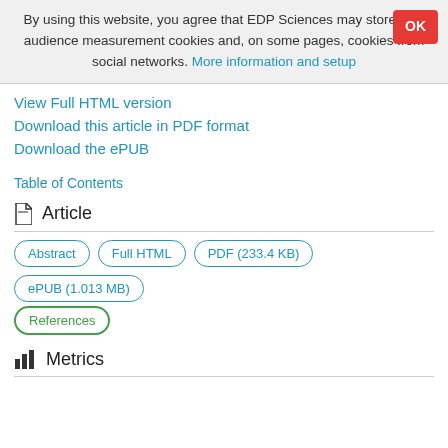By using this website, you agree that EDP Sciences may store web audience measurement cookies and, on some pages, cookies from social networks. More information and setup
View Full HTML version
Download this article in PDF format
Download the ePUB
Table of Contents
Article
Abstract  Full HTML  PDF (233.4 KB)  ePUB (1.013 MB)  References
Metrics